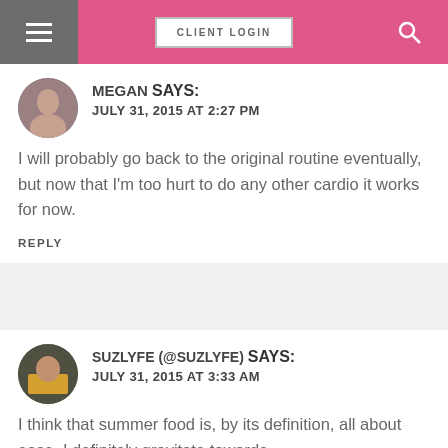CLIENT LOGIN
MEGAN SAYS:
JULY 31, 2015 AT 2:27 PM

I will probably go back to the original routine eventually, but now that I'm too hurt to do any other cardio it works for now.

REPLY
SUZLYFE (@SUZLYFE) SAYS:
JULY 31, 2015 AT 3:33 AM

I think that summer food is, by its definition, all about ease. I definitely gravitate towards